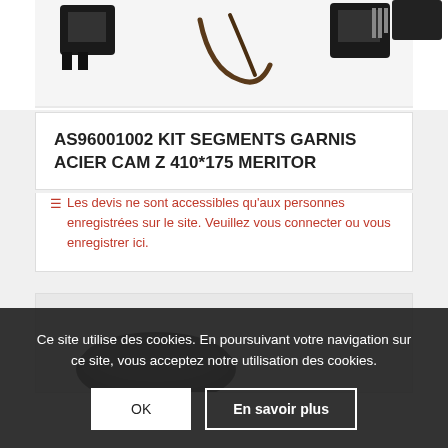[Figure (photo): Product photo showing KIT SEGMENTS GARNIS ACIER components (brake parts/hardware) on white background]
AS96001002 KIT SEGMENTS GARNIS ACIER CAM Z 410*175 MERITOR
Les devis ne sont accessibles qu'aux personnes enregistrées sur le site. Veuillez vous connecter ou vous enregistrer ici.
[Figure (photo): Product photo showing dark rounded brake component on lighter background]
Ce site utilise des cookies. En poursuivant votre navigation sur ce site, vous acceptez notre utilisation des cookies.